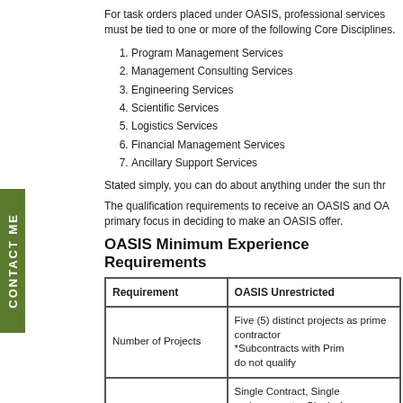For task orders placed under OASIS, professional services must be tied to one or more of the following Core Disciplines.
1. Program Management Services
2. Management Consulting Services
3. Engineering Services
4. Scientific Services
5. Logistics Services
6. Financial Management Services
7. Ancillary Support Services
Stated simply, you can do about anything under the sun thr
The qualification requirements to receive an OASIS and OA primary focus in deciding to make an OASIS offer.
OASIS Minimum Experience Requirements
| Requirement | OASIS Unrestricted |
| --- | --- |
| Number of Projects | Five (5) distinct projects as prime contractor
*Subcontracts with Prim do not qualify |
| Type of Project | Single Contract, Single under a master Single A Award IDIQ, Single Tas Federal Supply Schedu Order under a master S Multiple Award BPA, on a collection of task orde |
| Type of Customer | U.S. Government, U.S. Government, Internatio Sector, Non Governme |